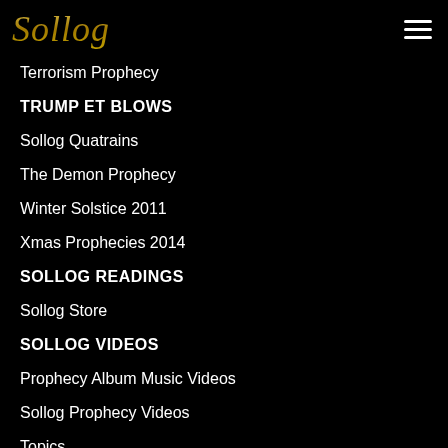Sollog
Terrorism Prophecy
TRUMP ET BLOWS
Sollog Quatrains
The Demon Prophecy
Winter Solstice 2011
Xmas Prophecies 2014
SOLLOG READINGS
Sollog Store
SOLLOG VIDEOS
Prophecy Album Music Videos
Sollog Prophecy Videos
Topics